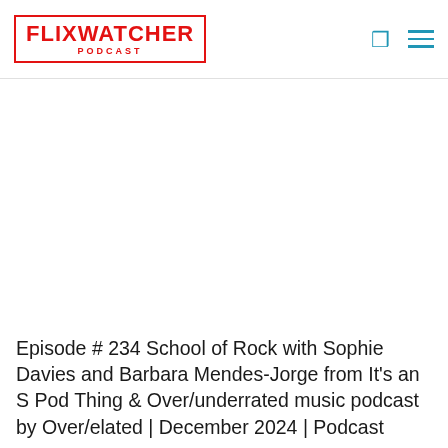FLIXWATCHER PODCAST
[Figure (logo): Flixwatcher Podcast logo in red with rectangular border]
Episode # 234 School of Rock with Sophie Davies and Barbara Mendes-Jorge from It’s an S Pod Thing & Over/underrated music podcast by Over/elated | December 2024 | Podcast